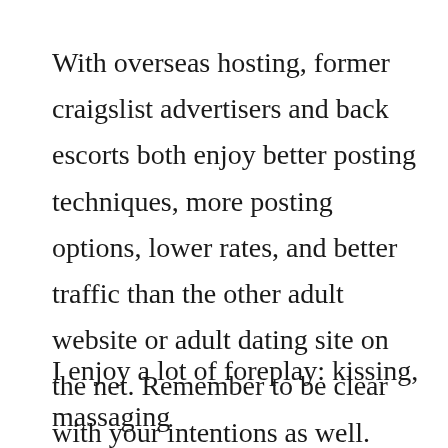With overseas hosting, former craigslist advertisers and back escorts both enjoy better posting techniques, more posting options, lower rates, and better traffic than the other adult website or adult dating site on the net. Remember to be clear with your intentions as well. Chances are you are going to have no trouble meeting a local sweethears that will be willing to suck you all night long, right?
I enjoy a lot of foreplay: kissing, massaging